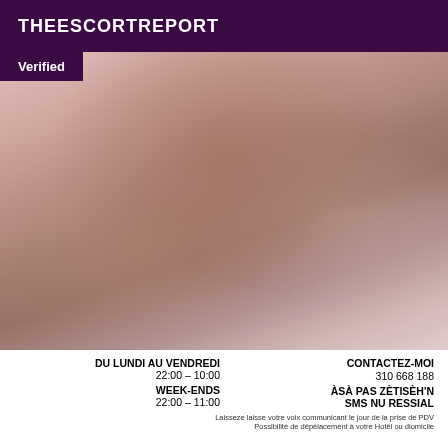THEESCORTREPORT
[Figure (photo): Blurred/obscured photograph with a 'Verified' badge overlay in the top-left corner]
DU LUNDI AU VENDREDI
10:00 – 22:00
WEEK-ENDS
11:00 – 22:00
CONTACTEZ-MOI
0613 866 881
N'HÈSITEZ PAS À
LAISSER UN SMS
Laissez esse votre voix communicant le jour de la prise en PDV
Possibilité de déplacement à votre Hôtel ou domicile